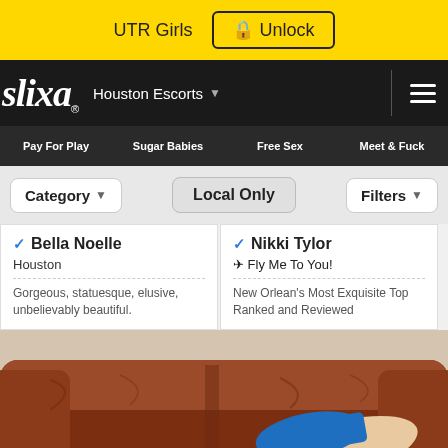UTR Girls  🔒 Unlock
[Figure (screenshot): Slixa website navigation bar showing logo, Houston Escorts location selector, hamburger menu, sub-navigation with Pay For Play, Sugar Babies, Free Sex, Meet & Fuck tabs]
Category ▾   Local Only   Filters ▾
✔ Bella Noelle
Houston
Gorgeous, statuesque, elusive, unbelievably beautiful.
✔ Nikki Tylor
✈ Fly Me To You!
New Orlean's Most Exquisite Top Ranked and Reviewed
[Figure (photo): Photo showing legs of a person on a brown leather couch, wearing blue shorts/underwear]